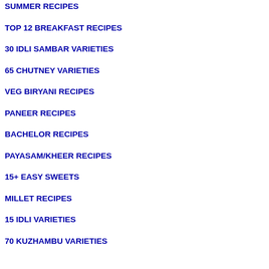SUMMER RECIPES
TOP 12 BREAKFAST RECIPES
30 IDLI SAMBAR VARIETIES
65 CHUTNEY VARIETIES
VEG BIRYANI RECIPES
PANEER RECIPES
BACHELOR RECIPES
PAYASAM/KHEER RECIPES
15+ EASY SWEETS
MILLET RECIPES
15 IDLI VARIETIES
70 KUZHAMBU VARIETIES